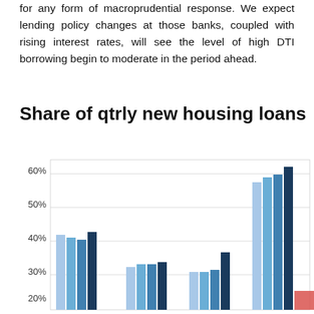for any form of macroprudential response. We expect lending policy changes at those banks, coupled with rising interest rates, will see the level of high DTI borrowing begin to moderate in the period ahead.
Share of qtrly new housing loans
[Figure (grouped-bar-chart): Share of qtrly new housing loans]